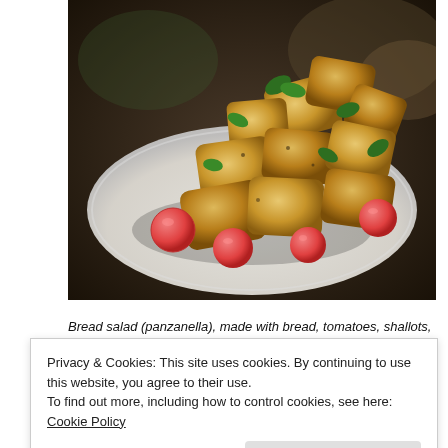[Figure (photo): A plate of bread salad (panzanella) with bread chunks, cherry tomatoes, basil leaves, on a white plate, dark background.]
Bread salad (panzanella), made with bread, tomatoes, shallots, basil, olive oil, and red wine vinegar.
Privacy & Cookies: This site uses cookies. By continuing to use this website, you agree to their use.
To find out more, including how to control cookies, see here: Cookie Policy
Close and accept
the Blue: Boldly Going Where Captain Cook Has Gone